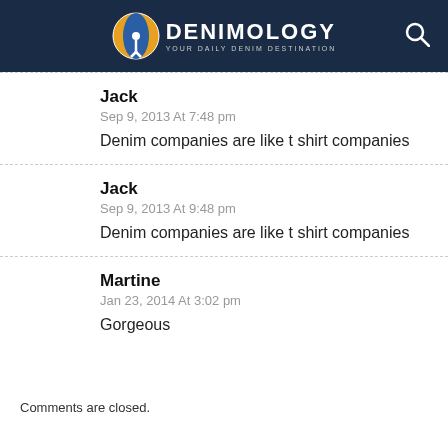DENIMOLOGY YOUR DAILY DENIM DESTINATION
Jack
Sep 9, 2013 At 7:48 pm
Denim companies are like t shirt companies
Jack
Sep 9, 2013 At 9:48 pm
Denim companies are like t shirt companies
Martine
Jan 23, 2014 At 3:02 pm
Gorgeous
Comments are closed.